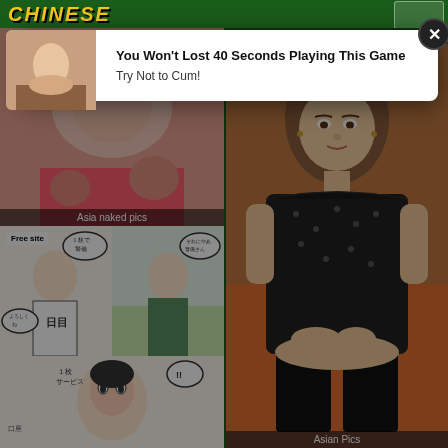CHINESE
[Figure (photo): Popup ad with thumbnail image showing adult content, close button (X), title text 'You Won't Lost 40 Seconds Playing This Game', subtitle 'Try Not to Cum!']
You Won't Lost 40 Seconds Playing This Game
Try Not to Cum!
[Figure (photo): Adult image - Asia naked pics thumbnail]
Asia naked pics
[Figure (illustration): Japanese manga/hentai comic panels - Free site]
[Figure (photo): Asian woman in black dress sitting - Asian Pics]
Asian Pics